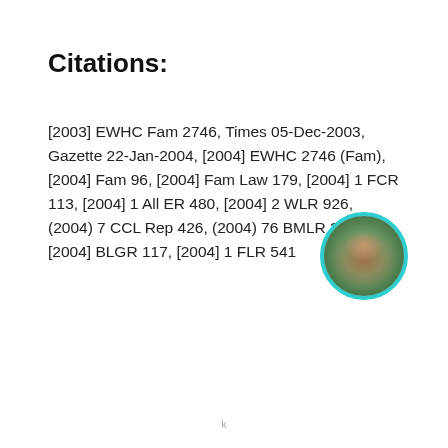Citations:
[2003] EWHC Fam 2746, Times 05-Dec-2003, Gazette 22-Jan-2004, [2004] EWHC 2746 (Fam), [2004] Fam 96, [2004] Fam Law 179, [2004] 1 FCR 113, [2004] 1 All ER 480, [2004] 2 WLR 926, (2004) 7 CCL Rep 426, (2004) 76 BMLR 210, [2004] BLGR 117, [2004] 1 FLR 541
[Figure (photo): Circular portrait photo of a smiling woman with dark hair, framed with a teal/cyan circular border]